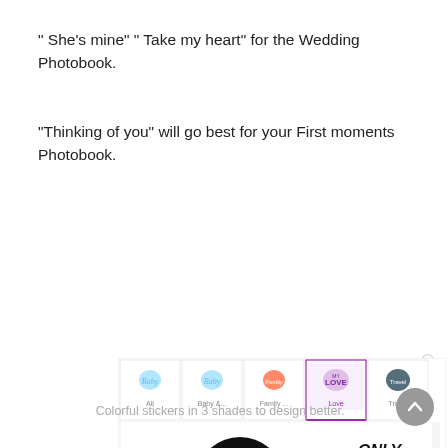" She’s mine" " Take my heart" for the Wedding Photobook.
“Thinking of you” will go best for your First moments Photobook.
[Figure (screenshot): Screenshot of a sticker selection UI showing love-themed stickers including 'Miss You', 'My Boo', 'My Love', 'Only You', 'She Said Yes!', "She's Mine", 'Take My Heart', 'Thinking of You' in the Love category tab.]
Colorful stickers in 3 shades to design better.